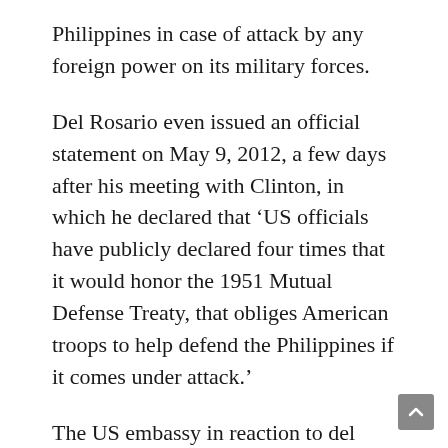Philippines in case of attack by any foreign power on its military forces.
Del Rosario even issued an official statement on May 9, 2012, a few days after his meeting with Clinton, in which he declared that ‘US officials have publicly declared four times that it would honor the 1951 Mutual Defense Treaty, that obliges American troops to help defend the Philippines if it comes under attack.’
The US embassy in reaction to del Rosario’s claim, issued a statement saying that Clinton in their meeting did say that ‘the United States reaffirms our commitments and obligations under the Mutual